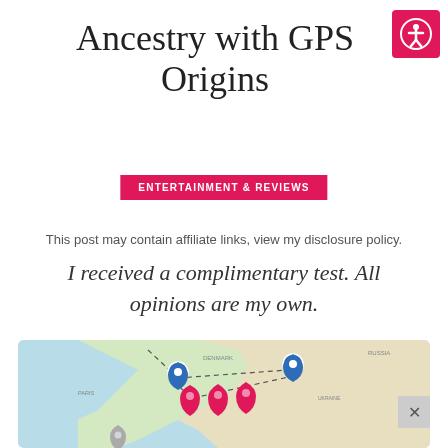Ancestry with GPS Origins
ENTERTAINMENT & REVIEWS
This post may contain affiliate links, view my disclosure policy.
I received a complimentary test. All opinions are my own.
[Figure (map): A GPS origins map showing blue and red location pins over Europe, with dashed lines connecting locations across France, Germany, and Eastern Europe. A grey map pin is visible in the lower portion of the map.]